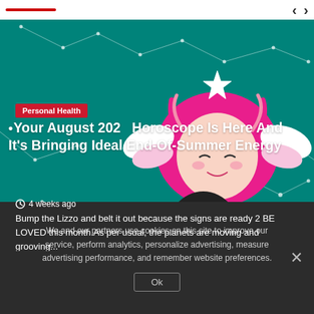[Figure (illustration): Website screenshot showing a horoscope article page. The hero image features a cartoon girl with pink hair and a star headband holding a large pink heart, set against a teal background with white constellation line graphics. A red 'Personal Health' category badge appears over the image. Navigation arrows are shown at the top right.]
Your August 2021 Horoscope Is Here And It's Bringing Ideal End-Of-Summer Energy
4 weeks ago
Bump the Lizzo and belt it out because the signs are ready 2 BE LOVED this month.As per usual, the planets are moving and grooving...
We and our partners use cookies on this site to improve our service, perform analytics, personalize advertising, measure advertising performance, and remember website preferences.
Ok